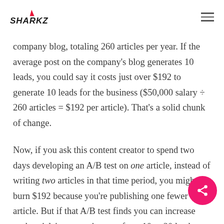SHARKZ [logo] [hamburger menu]
company blog, totaling 260 articles per year. If the average post on the company's blog generates 10 leads, you could say it costs just over $192 to generate 10 leads for the business ($50,000 salary ÷ 260 articles = $192 per article). That's a solid chunk of change.
Now, if you ask this content creator to spend two days developing an A/B test on one article, instead of writing two articles in that time period, you might burn $192 because you're publishing one fewer article. But if that A/B test finds you can increase each article's conversion rate from 10 to 20 leads, you just spent $192 to potentially double the number of customers you're bringing in — for every article.